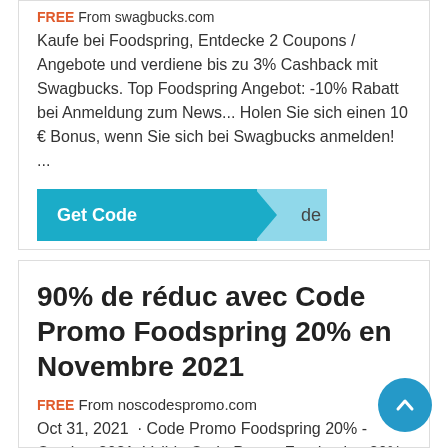FREE From swagbucks.com
Kaufe bei Foodspring, Entdecke 2 Coupons / Angebote und verdiene bis zu 3% Cashback mit Swagbucks. Top Foodspring Angebot: -10% Rabatt bei Anmeldung zum News... Holen Sie sich einen 10 € Bonus, wenn Sie sich bei Swagbucks anmelden! ...
[Figure (other): Teal 'Get Code' button with arrow tab]
90% de réduc avec Code Promo Foodspring 20% en Novembre 2021
FREE From noscodespromo.com
Oct 31, 2021 · Code Promo Foodspring 20% - Octobre 2021. Valide Code Promo Foodspring 20% - 100% GRATUIT et vérifié par